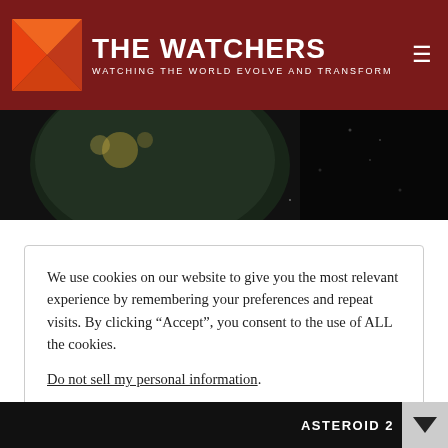THE WATCHERS — WATCHING THE WORLD EVOLVE AND TRANSFORM
[Figure (photo): Dark space/earth hero image band across the top of the page content area]
We use cookies on our website to give you the most relevant experience by remembering your preferences and repeat visits. By clicking “Accept”, you consent to the use of ALL the cookies.
Do not sell my personal information.
Cookie settings  Accept
ASTEROID 2